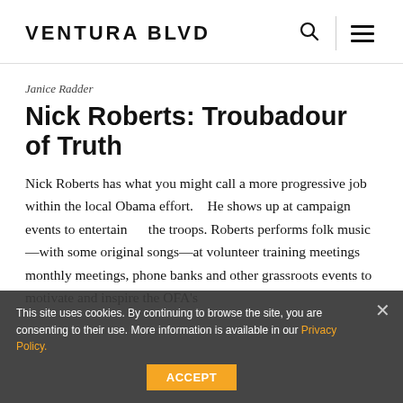VENTURA BLVD
Janice Radder
Nick Roberts: Troubadour of Truth
Nick Roberts has what you might call a more progressive job within the local Obama effort.    He shows up at campaign events to entertain     the troops. Roberts performs folk music—with some original songs—at volunteer training meetings monthly meetings, phone banks and other grassroots events to motivate and inspire the OFA's
This site uses cookies. By continuing to browse the site, you are consenting to their use. More information is available in our Privacy Policy.